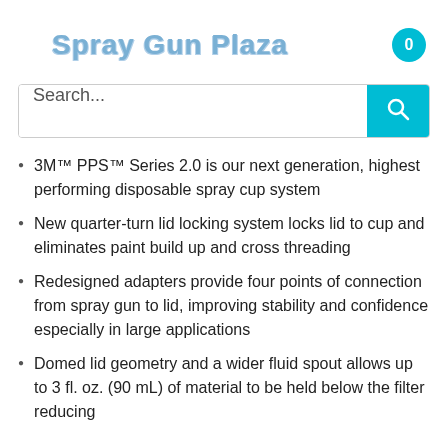Spray Gun Plaza
3M™ PPS™ Series 2.0 is our next generation, highest performing disposable spray cup system
New quarter-turn lid locking system locks lid to cup and eliminates paint build up and cross threading
Redesigned adapters provide four points of connection from spray gun to lid, improving stability and confidence especially in large applications
Domed lid geometry and a wider fluid spout allows up to 3 fl. oz. (90 mL) of material to be held below the filter reducing